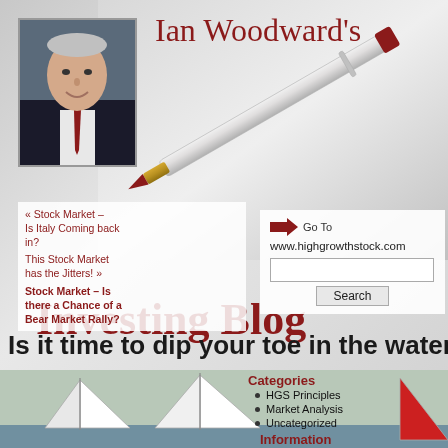[Figure (photo): Photo of Ian Woodward, older gentleman in suit, headshot]
Ian Woodward's Investing Blog
[Figure (photo): Background image of a pen/pencil on gray background]
« Stock Market – Is Italy Coming back in?
This Stock Market has the Jitters! »
Stock Market – Is there a Chance of a Bear Market Rally?
Go To www.highgrowthstock.com
Is it time to dip your toe in the water or
[Figure (photo): Photo of sailboats on water]
Categories
HGS Principles
Market Analysis
Uncategorized
Information